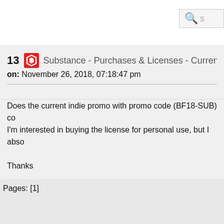S Substance - Purchases & Licenses - Current indie pro
13  Substance - Purchases & Licenses - Current indie pro
on: November 26, 2018, 07:18:47 pm
Does the current indie promo with promo code (BF18-SUB) co I'm interested in buying the license for personal use, but I abso

Thanks
Pages: [1]